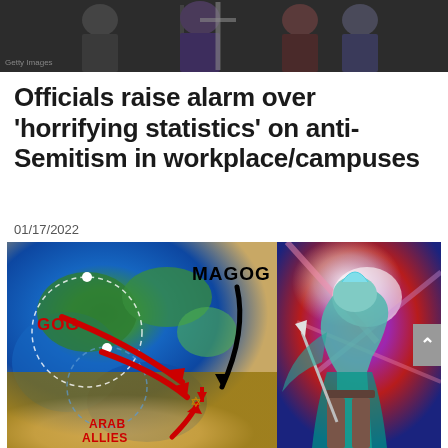[Figure (illustration): Top portion of an illustration showing stylized figures, partially cropped]
Officials raise alarm over ‘horrifying statistics’ on anti-Semitism in workplace/campuses
01/17/2022
[Figure (illustration): Map of Europe and Middle East overlaid with text labels 'GOG' (red), 'MAGOG' (black), 'ARAB ALLIES' (red), red arrows pointing toward Israel (marked with Star of David), and a black arrow. Right side shows a fantasy warrior character with purple/pink energy effects and smoke. A gray scroll-up button is visible on the right edge.]